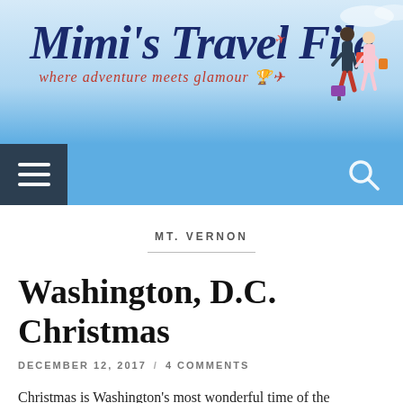[Figure (logo): Mimi's Travel File blog header logo with illustration of two women walking, airplane graphic, and tagline 'where adventure meets glamour' on a sky blue gradient background]
MT. VERNON
Washington, D.C. Christmas
DECEMBER 12, 2017 / 4 COMMENTS
Christmas is Washington’s most wonderful time of the